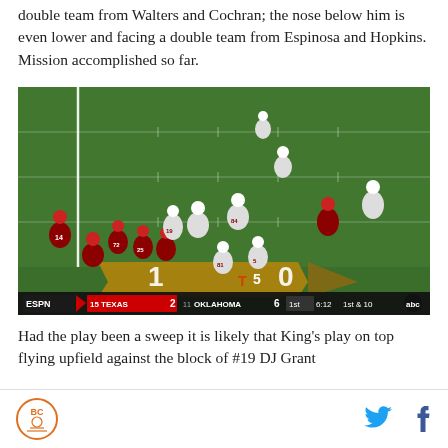double team from Walters and Cochran; the nose below him is even lower and facing a double team from Espinosa and Hopkins. Mission accomplished so far.
[Figure (screenshot): Football game screenshot showing ESPN broadcast of Texas vs Oklahoma game. Scoreboard shows TEXAS 2, OKLAHOMA 6, 1st quarter, 6:12, 1st & 10. Players in red and white uniforms are engaged on the field near the line of scrimmage.]
Had the play been a sweep it is likely that King's play on top flying upfield against the block of #19 DJ Grant
BC logo, Twitter icon, Facebook icon